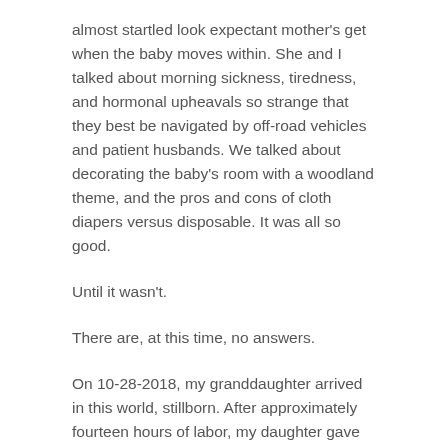almost startled look expectant mother's get when the baby moves within. She and I talked about morning sickness, tiredness, and hormonal upheavals so strange that they best be navigated by off-road vehicles and patient husbands. We talked about decorating the baby's room with a woodland theme, and the pros and cons of cloth diapers versus disposable. It was all so good.
Until it wasn't.
There are, at this time, no answers.
On 10-28-2018, my granddaughter arrived in this world, stillborn. After approximately fourteen hours of labor, my daughter gave one final push, and there she was.